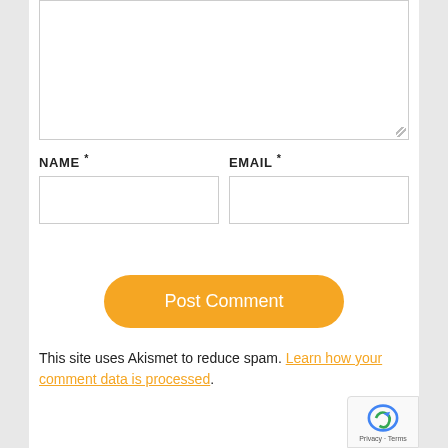[Figure (screenshot): A textarea input box with a resize handle at the bottom-right corner]
NAME *
EMAIL *
[Figure (screenshot): Two input fields side by side: NAME and EMAIL]
[Figure (screenshot): Orange rounded Post Comment button]
This site uses Akismet to reduce spam. Learn how your comment data is processed.
[Figure (logo): reCAPTCHA badge with Privacy and Terms text]